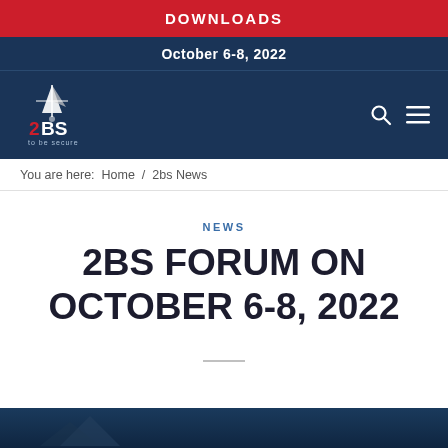DOWNLOADS
October 6-8, 2022
[Figure (logo): 2BS to be secure logo — white sailboat/compass icon above red '2BS' text and 'to be secure' tagline on dark blue background]
You are here:  Home  /  2bs News
NEWS
2BS FORUM ON OCTOBER 6-8, 2022
[Figure (photo): Dark blue banner image at bottom of page]